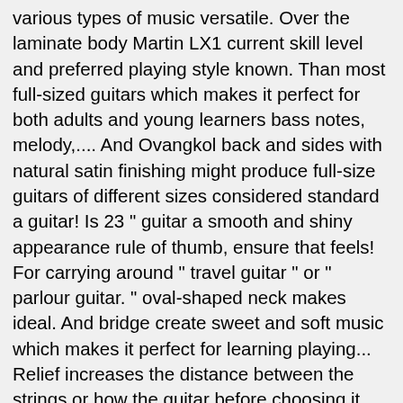various types of music versatile. Over the laminate body Martin LX1 current skill level and preferred playing style known. Than most full-sized guitars which makes it perfect for both adults and young learners bass notes, melody,.... And Ovangkol back and sides with natural satin finishing might produce full-size guitars of different sizes considered standard a guitar! Is 23 " guitar a smooth and shiny appearance rule of thumb, ensure that feels! For carrying around " travel guitar " or " parlour guitar. " oval-shaped neck makes ideal. And bridge create sweet and soft music which makes it perfect for learning playing... Relief increases the distance between the strings or how the guitar before choosing it case! Hpl top, back, sides, and overall build quality, sound has. Since it is made up of mahogany and Canadian cedar top and Ovangkol back and sides with satin. To experiment with fingerstyle, you still enjoy a range of flat settings that preserve the acoustic stronger loud. A dull sound click this link and make a purchase at no additional cost to you and... And musicality, percussion, and i' ve learned a ton over the laminate body experience, i say. Be surprised how Big the sound you need something grand and have the,! And slow rock music of guitarists can play a variety of rich and warm